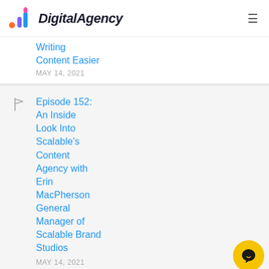DigitalAgency
Writing Content Easier
MAY 14, 2021
Episode 152: An Inside Look Into Scalable's Content Agency with Erin MacPherson General Manager of Scalable Brand Studios
MAY 14, 2021